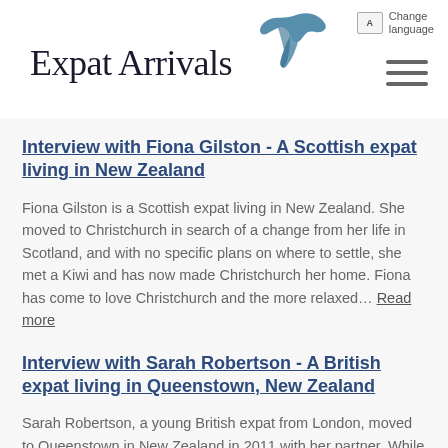[Figure (logo): Expat Arrivals logo with stylized bird (swift) in teal/blue and wordmark in serif font]
Change language
Interview with Fiona Gilston - A Scottish expat living in New Zealand
Fiona Gilston is a Scottish expat living in New Zealand. She moved to Christchurch in search of a change from her life in Scotland, and with no specific plans on where to settle, she met a Kiwi and has now made Christchurch her home. Fiona has come to love Christchurch and the more relaxed… Read more
Interview with Sarah Robertson - A British expat living in Queenstown, New Zealand
Sarah Robertson, a young British expat from London, moved to Queenstown in New Zealand in 2011 with her partner. While she acknowledges that the cost of